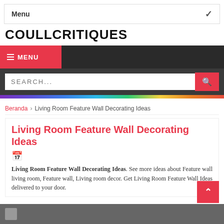Menu
COULLCRITIQUES
≡ MENU
SEARCH...
Beranda › Living Room Feature Wall Decorating Ideas
Living Room Feature Wall Decorating Ideas
Living Room Feature Wall Decorating Ideas. See more ideas about Feature wall living room, Feature wall, Living room decor. Get Living Room Feature Wall Ideas delivered to your door.